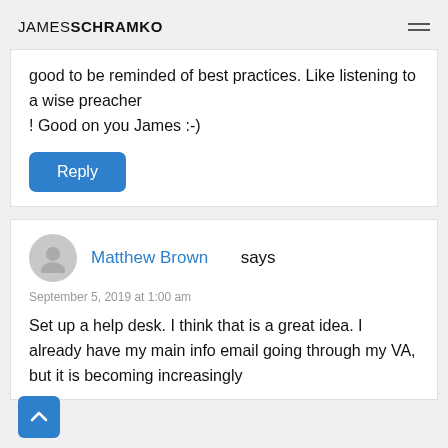JAMESSCHRAMKO
good to be reminded of best practices. Like listening to a wise preacher
! Good on you James :-)
Reply
Matthew Brown says
September 5, 2019 at 1:00 am
Set up a help desk. I think that is a great idea. I already have my main info email going through my VA, but it is becoming increasingly